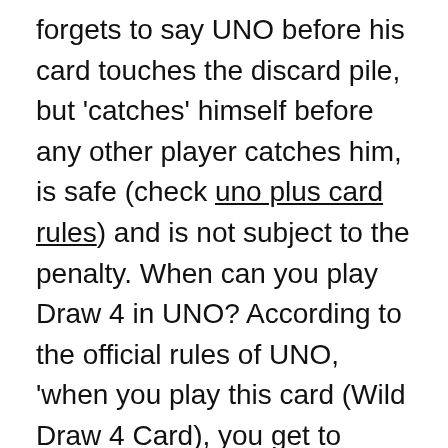forgets to say UNO before his card touches the discard pile, but 'catches' himself before any other player catches him, is safe (check uno plus card rules) and is not subject to the penalty. When can you play Draw 4 in UNO? According to the official rules of UNO, 'when you play this card (Wild Draw 4 Card), you get to choose the colour that continues play plus the next player must draw 4 cards from the draw pile and lose their turn.
How many colours are there in UNO? An UNO